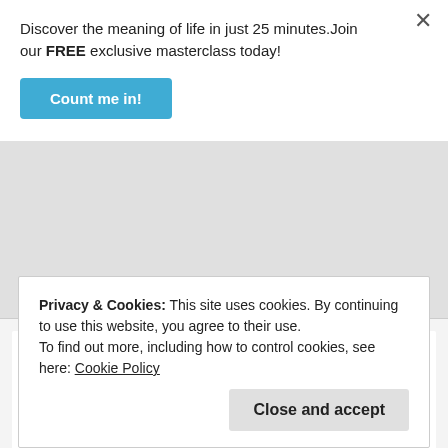Discover the meaning of life in just 25 minutes.Join our FREE exclusive masterclass today!
Count me in!
[Figure (logo): Karanja Njogu avatar: decorative dot-grid pattern icon in dark blue/purple]
Karanja Njogu
May 30, 2018 at 4:20 pm
God bless you for narrating the word.
Like
Privacy & Cookies: This site uses cookies. By continuing to use this website, you agree to their use.
To find out more, including how to control cookies, see here: Cookie Policy
Close and accept